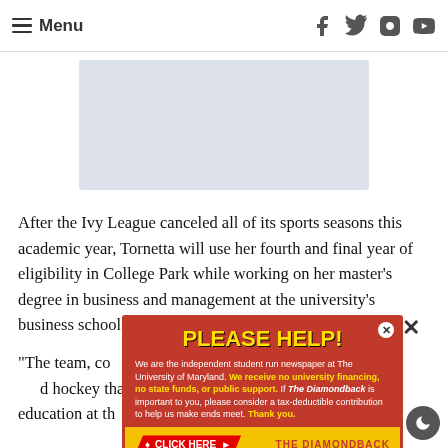Menu | Facebook, Twitter, Instagram, YouTube icons
[Figure (other): Light blue-grey advertisement placeholder rectangle]
After the Ivy League canceled all of its sports seasons this academic year, Tornetta will use her fourth and final year of eligibility in College Park while working on her master's degree in business and management at the university's business school.
“The team, co... al seems like an incredi... d hockey that COVID has gi... ontinue my education at th... said in a
[Figure (infographic): Red popup ad with yellow PLEASE HELP! title. Body text: We are the independent student run newspaper at The University of Maryland. We receive no university financing, no state funds, or public support. If The Diamondback is important to you, please consider a tax-deductible contribution to help us make ends meet. Thank you. Footer has CLICK HERE button and THE DIAMONDBACK logo.]